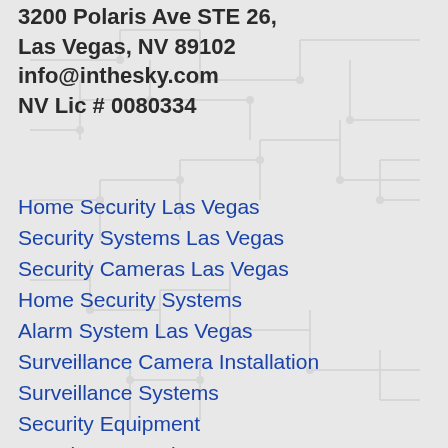3200 Polaris Ave STE 26, Las Vegas, NV 89102 info@inthesky.com NV Lic # 0080334
Home Security Las Vegas
Security Systems Las Vegas
Security Cameras Las Vegas
Home Security Systems
Alarm System Las Vegas
Surveillance Camera Installation
Surveillance Systems
Security Equipment
Intrusion Protection Systems